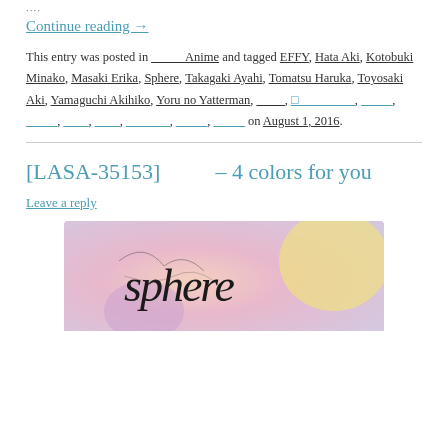....
Continue reading →
This entry was posted in _____ Anime and tagged EFFY, Hata Aki, Kotobuki Minako, Masaki Erika, Sphere, Takagaki Ayahi, Tomatsu Haruka, Toyosaki Aki, Yamaguchi Akihiko, Yoru no Yatterman, _______, □_________, _____, _____, ____, ____, _______, _____, _____ on August 1, 2016.
[LASA-35153]          – 4 colors for you
Leave a reply
[Figure (photo): Photo showing the Sphere album art with stylized cursive 'sphere' text on a pastel colored background]